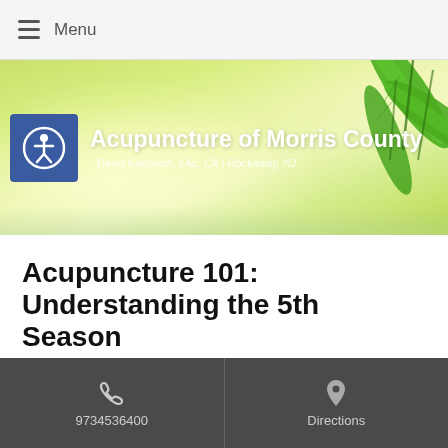Menu
[Figure (illustration): Hero banner with green bamboo leaves background and Acupuncture of Morris County logo and title. Subtitle: David Karlovich, LAc, CA | Rockaway, NJ]
Acupuncture 101: Understanding the 5th Season
In Traditional Chinese Medicine (TCM), late summer is a separate season.
9734536400   Directions